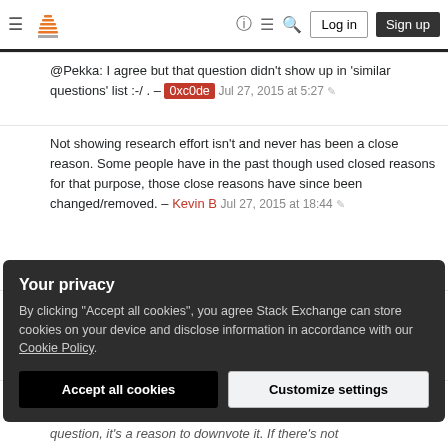Stack Exchange navigation header with hamburger menu, logo, help, chat, search icons, Log in and Sign up buttons
@Pekka: I agree but that question didn't show up in 'similar questions' list :-/ . – 0xc0de Jul 27, 2015 at 5:27
Not showing research effort isn't and never has been a close reason. Some people have in the past though used closed reasons for that purpose, those close reasons have since been changed/removed. – Kevin B Jul 27, 2015 at 18:44
"Too broad" or "unclear" typically apply. – EJoshuaS - Stand with Ukraine Aug 15, 2017 at 20:48
Add a comment
Your privacy
By clicking "Accept all cookies", you agree Stack Exchange can store cookies on your device and disclose information in accordance with our Cookie Policy.
Accept all cookies  Customize settings
question, it's a reason to downvote it. If there's not